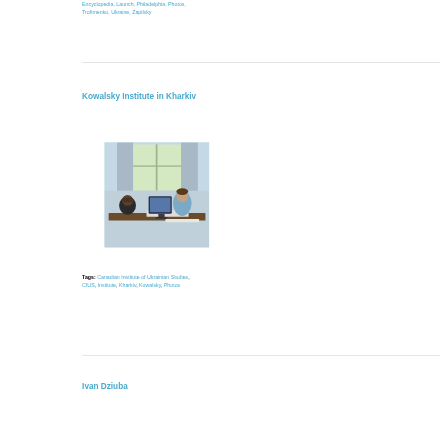Encyclopedia, Launch, Philadelphia, Photos, Trofimenko, Ukraine, Zapilsky
Kowalsky Institute in Kharkiv
[Figure (photo): Two men sitting at a desk with a computer monitor, inside a room with curtained windows; one man is wearing glasses.]
Tags: Canadian Institute of Ukrainian Studies, CIUS, Institute, Kharkiv, Kowalsky, Photos
Ivan Dziuba